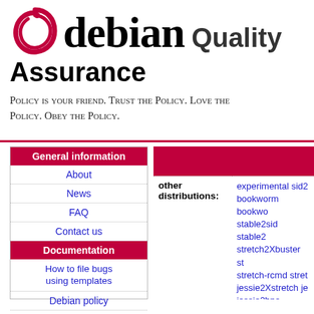debian Quality Assurance
Policy is your friend. Trust the Policy. Love the Policy. Obey the Policy.
|  |  |
| --- | --- |
| General information |  |
| About |  |
| News |  |
| FAQ |  |
| Contact us |  |
| Documentation |  |
| How to file bugs using templates |  |
| Debian policy |  |
| piuparts.d.o configuration: |  |
|  |  |
| --- | --- |
| other distributions: | experimental sid2... bookworm bookwo... stable2sid stable2... stretch2Xbuster st... stretch-rcmd stret... jessie2Xstretch je... jessie2bpo jessie2... wheezy2bpo2jess... squeeze2bpo-slop... |
| fail: | 0 |
| unknown: | 3 |
| pass: | 21 |